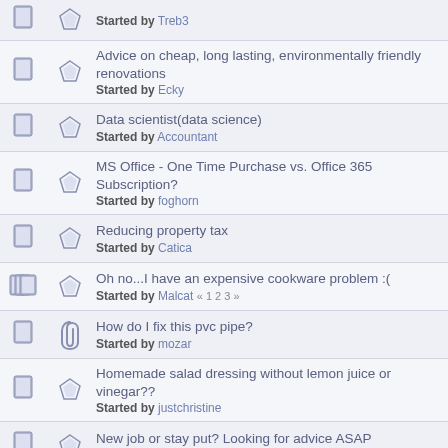Started by Treb3
Advice on cheap, long lasting, environmentally friendly renovations
Started by Ecky
Data scientist(data science)
Started by Accountant
MS Office - One Time Purchase vs. Office 365 Subscription?
Started by foghorn
Reducing property tax
Started by Catica
Oh no...I have an expensive cookware problem :(
Started by Malcat « 1 2 3 »
How do I fix this pvc pipe?
Started by mozar
Homemade salad dressing without lemon juice or vinegar??
Started by justchristine
New job or stay put? Looking for advice ASAP
Started by DealingWithDreams
Hypermiling a 3 cylinder turbo downsized engine?